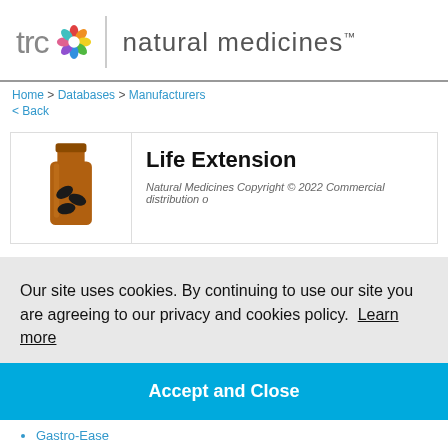[Figure (logo): TRC Natural Medicines logo with flower icon and wordmark]
Home > Databases > Manufacturers
< Back
[Figure (photo): Amber pill bottle with dark capsules inside]
Life Extension
Natural Medicines Copyright © 2022 Commercial distribution o...
Our site uses cookies. By continuing to use our site you are agreeing to our privacy and cookies policy. Learn more
Accept and Close
Gastro-Ease